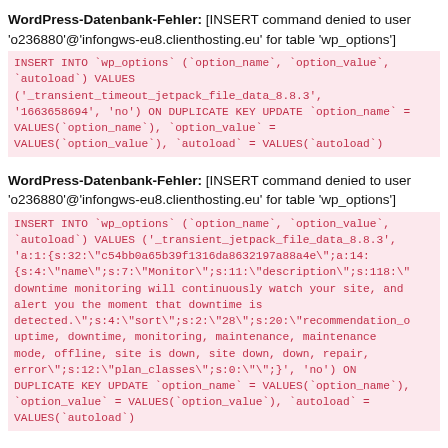WordPress-Datenbank-Fehler: [INSERT command denied to user 'o236880'@'infongws-eu8.clienthosting.eu' for table 'wp_options']
INSERT INTO `wp_options` (`option_name`, `option_value`, `autoload`) VALUES ('_transient_timeout_jetpack_file_data_8.8.3', '1663658694', 'no') ON DUPLICATE KEY UPDATE `option_name` = VALUES(`option_name`), `option_value` = VALUES(`option_value`), `autoload` = VALUES(`autoload`)
WordPress-Datenbank-Fehler: [INSERT command denied to user 'o236880'@'infongws-eu8.clienthosting.eu' for table 'wp_options']
INSERT INTO `wp_options` (`option_name`, `option_value`, `autoload`) VALUES ('_transient_jetpack_file_data_8.8.3', 'a:1:{s:32:"c54bb0a65b39f1316da8632197a88a4e";a:14:{s:4:"name";s:7:"Monitor";s:11:"description";s:118:"downtime monitoring will continuously watch your site, and alert you the moment that downtime is detected.";s:4:"sort";s:2:"28";s:20:"recommendation_o uptime, downtime, monitoring, maintenance, maintenance mode, offline, site is down, site down, down, repair, error";s:12:"plan_classes";s:0:"";}', 'no') ON DUPLICATE KEY UPDATE `option_name` = VALUES(`option_name`), `option_value` = VALUES(`option_value`), `autoload` = VALUES(`autoload`)